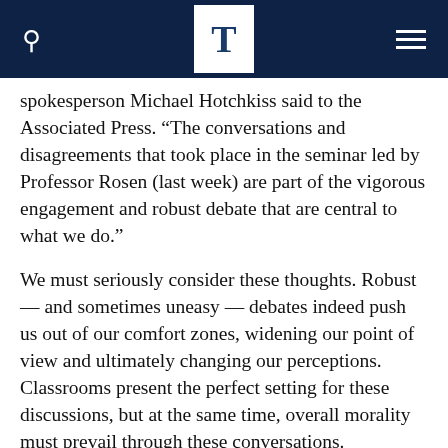T
spokesperson Michael Hotchkiss said to the Associated Press. “The conversations and disagreements that took place in the seminar led by Professor Rosen (last week) are part of the vigorous engagement and robust debate that are central to what we do.”
We must seriously consider these thoughts. Robust — and sometimes uneasy — debates indeed push us out of our comfort zones, widening our point of view and ultimately changing our perceptions. Classrooms present the perfect setting for these discussions, but at the same time, overall morality must prevail through these conversations.
There may not be many standards when it comes to free speech, but until we draw clearer lines, something lik…